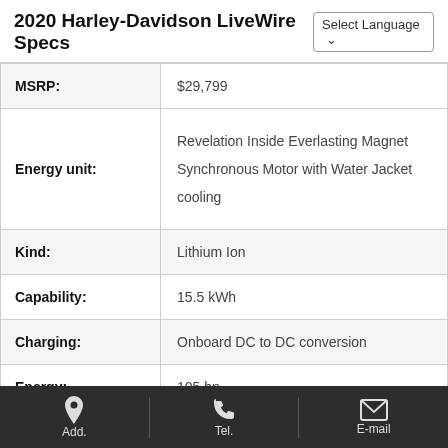2020 Harley-Davidson LiveWire Specs
| Spec | Value |
| --- | --- |
| MSRP: | $29,799 |
| Energy unit: | Revelation Inside Everlasting Magnet Synchronous Motor with Water Jacket cooling |
| Kind: | Lithium Ion |
| Capability: | 15.5 kWh |
| Charging: | Onboard DC to DC conversion |
| Energy: | 105 hp |
| Torque: | 85.5 lb-ft |
Add.   Tel.   E-mail